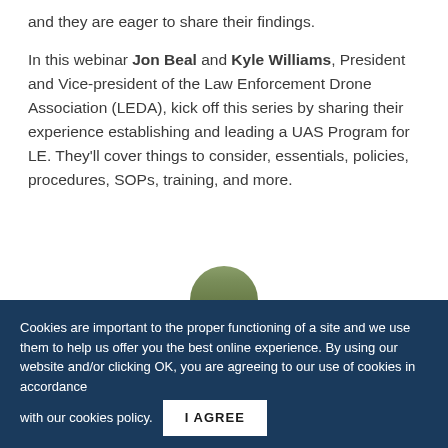and they are eager to share their findings.

In this webinar Jon Beal and Kyle Williams, President and Vice-president of the Law Enforcement Drone Association (LEDA), kick off this series by sharing their experience establishing and leading a UAS Program for LE. They'll cover things to consider, essentials, policies, procedures, SOPs, training, and more.
Cookies are important to the proper functioning of a site and we use them to help us offer you the best online experience. By using our website and/or clicking OK, you are agreeing to our use of cookies in accordance with our cookies policy.